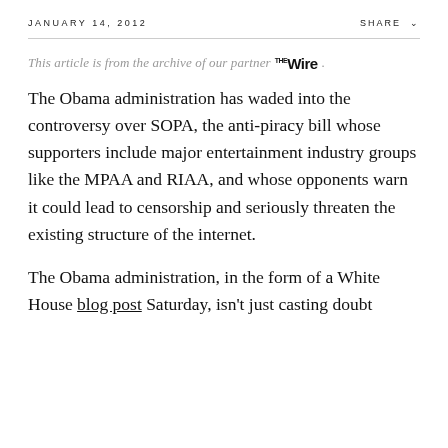JANUARY 14, 2012    SHARE
This article is from the archive of our partner THE WIRE.
The Obama administration has waded into the controversy over SOPA, the anti-piracy bill whose supporters include major entertainment industry groups like the MPAA and RIAA, and whose opponents warn it could lead to censorship and seriously threaten the existing structure of the internet.
The Obama administration, in the form of a White House blog post Saturday, isn't just casting doubt